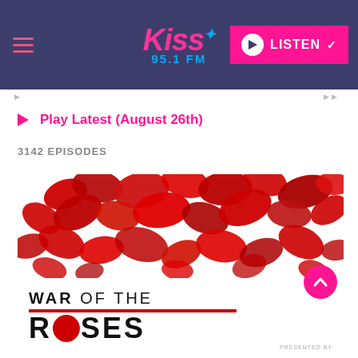Kiss 95.1 FM — LISTEN
Play Latest (August 26th)
3142 EPISODES
[Figure (photo): Photo of red rose petals scattered on a white background, above a 'War of the Roses' title card with bold black text and a red underline, and a red circle replacing the 'O' in ROSES.]